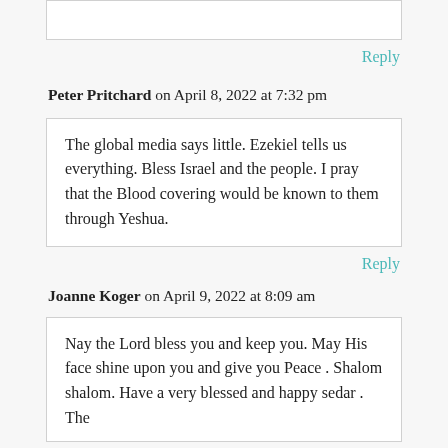Reply
Peter Pritchard on April 8, 2022 at 7:32 pm
The global media says little. Ezekiel tells us everything. Bless Israel and the people. I pray that the Blood covering would be known to them through Yeshua.
Reply
Joanne Koger on April 9, 2022 at 8:09 am
Nay the Lord bless you and keep you. May His face shine upon you and give you Peace . Shalom shalom. Have a very blessed and happy sedar . The